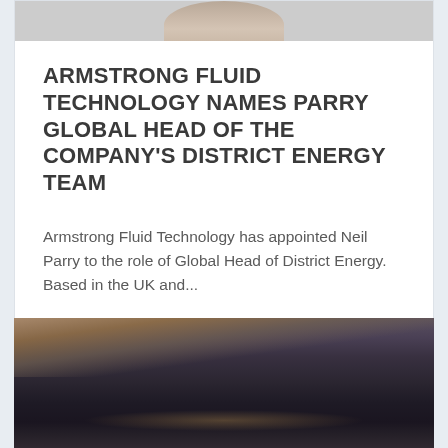[Figure (photo): Partial photo of a person's face (cropped, only lower forehead/chin area visible) against a grey background]
ARMSTRONG FLUID TECHNOLOGY NAMES PARRY GLOBAL HEAD OF THE COMPANY'S DISTRICT ENERGY TEAM
Armstrong Fluid Technology has appointed Neil Parry to the role of Global Head of District Energy. Based in the UK and...
[Figure (photo): Aerial/landscape photograph of a city or town at dusk or dawn, with hills in the background and city lights visible below]